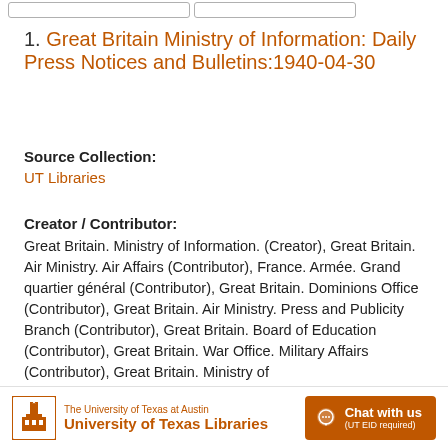1. Great Britain Ministry of Information: Daily Press Notices and Bulletins:1940-04-30
Source Collection:
UT Libraries
Creator / Contributor:
Great Britain. Ministry of Information. (Creator), Great Britain. Air Ministry. Air Affairs (Contributor), France. Armée. Grand quartier général (Contributor), Great Britain. Dominions Office (Contributor), Great Britain. Air Ministry. Press and Publicity Branch (Contributor), Great Britain. Board of Education (Contributor), Great Britain. War Office. Military Affairs (Contributor), Great Britain. Ministry of
The University of Texas at Austin University of Texas Libraries  Chat with us (UT EID required)